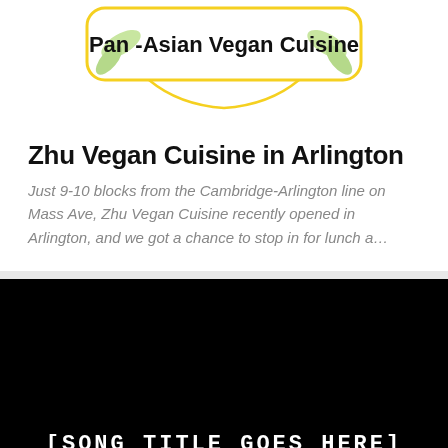[Figure (logo): Pan-Asian Vegan Cuisine decorative logo with yellow border and green leaf motifs]
Zhu Vegan Cuisine in Arlington
Just 9-10 blocks from the Cambridge-Arlington line on Mass Ave, Zhu Vegan Cuisine recently opened in Arlington, and we got a chance to stop in for lunch a…
[Figure (screenshot): Black video thumbnail with white monospace text reading [SONG TITLE GOES HERE]]